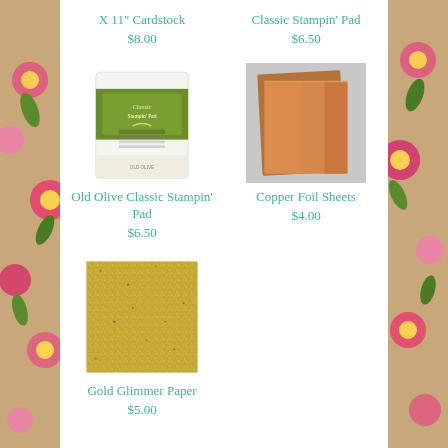X 11" Cardstock
$8.00
Classic Stampin’ Pad
$6.50
[Figure (photo): Old Olive Classic Stampin' Pad ink pad product photo]
Old Olive Classic Stampin’ Pad
$6.50
[Figure (photo): Copper Foil Sheets product photo showing two copper metallic sheets]
Copper Foil Sheets
$4.00
[Figure (photo): Gold Glimmer Paper product photo showing gold glitter paper]
Gold Glimmer Paper
$5.00